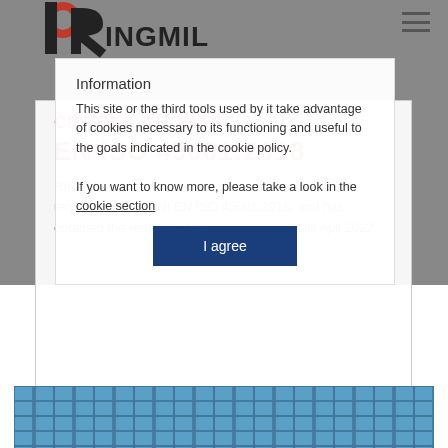[Figure (logo): Ringmill company logo with P and R stylized letters in red and dark, with text RINGMILL]
CERTIFICATION UNI EN ISO 45001:2018
RINGMILL has implemented and comply with the requirements of UNI EN ISO 45001.2018, and has obtained the renewal of the ... lid till Apil 2022
Information
This site or the third tools used by it take advantage of cookies necessary to its functioning and useful to the goals indicated in the cookie policy.
If you want to know more, please take a look in the cookie section
I agree
[Figure (photo): Solar panels photo at bottom of page]